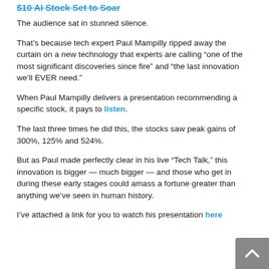$10 AI Stock Set to Soar (partial, struck-through)
The audience sat in stunned silence.
That’s because tech expert Paul Mampilly ripped away the curtain on a new technology that experts are calling “one of the most significant discoveries since fire” and “the last innovation we’ll EVER need.”
When Paul Mampilly delivers a presentation recommending a specific stock, it pays to listen.
The last three times he did this, the stocks saw peak gains of 300%, 125% and 524%.
But as Paul made perfectly clear in his live “Tech Talk,” this innovation is bigger — much bigger — and those who get in during these early stages could amass a fortune greater than anything we’ve seen in human history.
I’ve attached a link for you to watch his presentation here